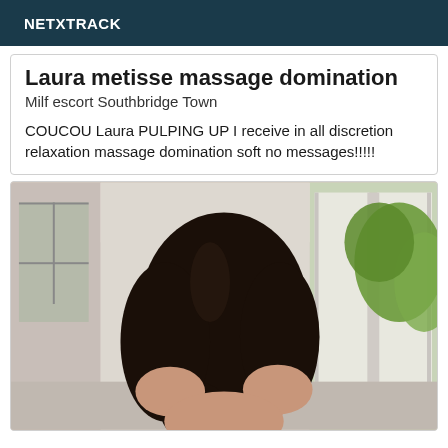NETXTRACK
Laura metisse massage domination
Milf escort Southbridge Town
COUCOU Laura PULPING UP I receive in all discretion relaxation massage domination soft no messages!!!!!
[Figure (photo): Woman with long dark curly hair viewed from behind, standing near white French doors with greenery visible outside, indoor setting with white walls]